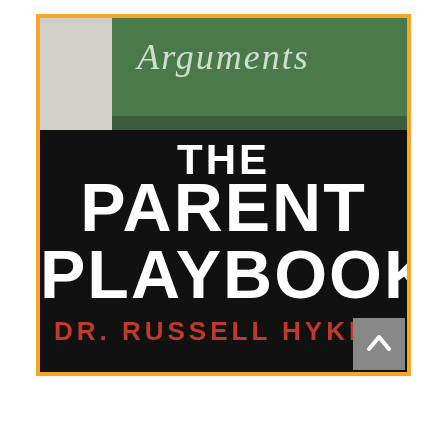[Figure (illustration): Book cover for 'The Parent Playbook' by Dr. Russell Hyken. The cover shows a chalkboard background at the top with the word 'Arguments' written in chalk-style cursive italic text, and a person's legs visible on the left side. The bottom portion is black with large bold white text reading 'THE PARENT PLAYBOOK' and the author name 'DR. RUSSELL HYKEN' in bold red text. The cover is framed with an orange/gold border. A gray scroll-to-top button with an upward arrow is overlaid in the bottom-right corner.]